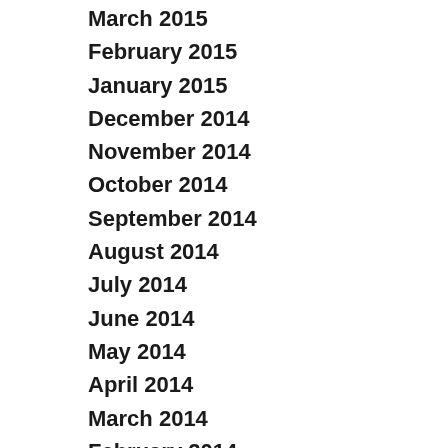March 2015
February 2015
January 2015
December 2014
November 2014
October 2014
September 2014
August 2014
July 2014
June 2014
May 2014
April 2014
March 2014
February 2014